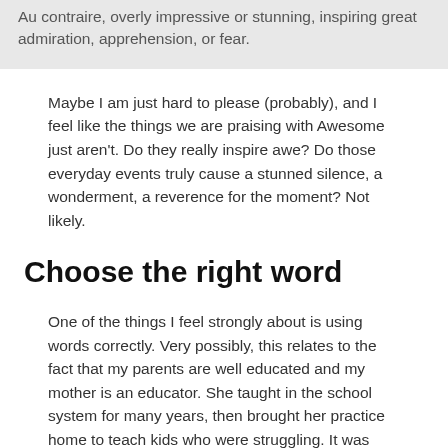Au contraire, overly impressive or stunning, inspiring great admiration, apprehension, or fear.
Maybe I am just hard to please (probably), and I feel like the things we are praising with Awesome just aren't. Do they really inspire awe? Do those everyday events truly cause a stunned silence, a wonderment, a reverence for the moment? Not likely.
Choose the right word
One of the things I feel strongly about is using words correctly. Very possibly, this relates to the fact that my parents are well educated and my mother is an educator. She taught in the school system for many years, then brought her practice home to teach kids who were struggling. It was pretty inspiring to see the droves of